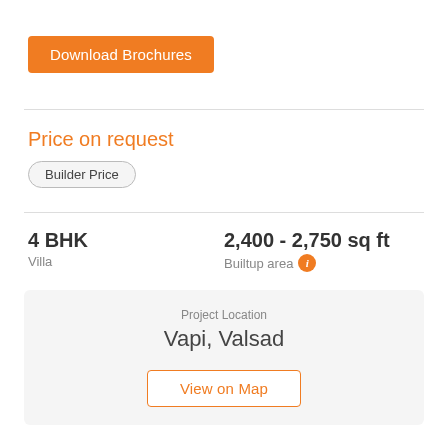Download Brochures
Price on request
Builder Price
4 BHK
Villa
2,400 - 2,750 sq ft
Builtup area
Project Location
Vapi, Valsad
View on Map